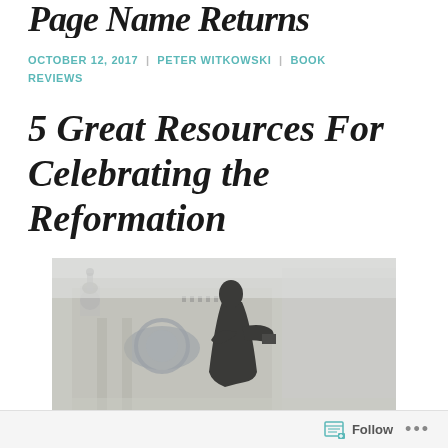Page Name Returns
OCTOBER 12, 2017 | PETER WITKOWSKI | BOOK REVIEWS
5 Great Resources For Celebrating the Reformation
[Figure (photo): Bronze statue of Martin Luther standing in front of a classical European church building, looking upward, holding a book, wearing robes.]
Follow ...